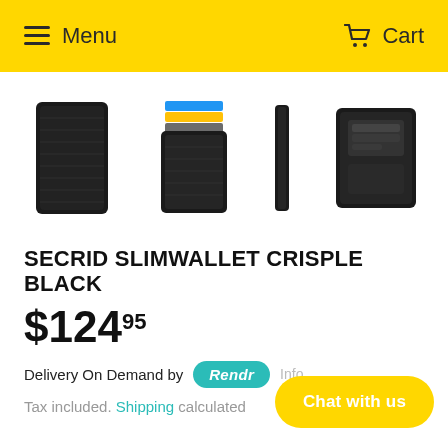Menu   Cart
[Figure (photo): Four product views of the Secrid Slimwallet Crisple Black: front closed view, open/expanded card view, side slim profile view, and back/inside view showing card mechanism.]
SECRID SLIMWALLET CRISPLE BLACK
$124.95
Delivery On Demand by Rendr Info
Tax included. Shipping calculated